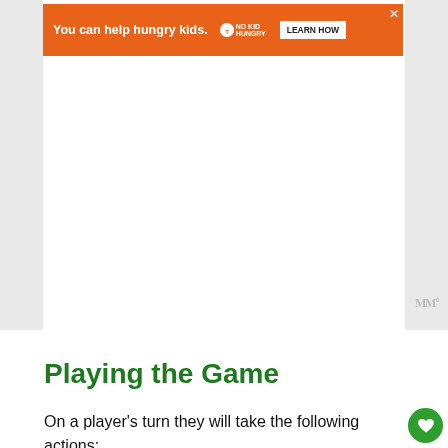[Figure (screenshot): Orange advertisement banner: 'You can help hungry kids.' with No Kid Hungry logo and LEARN HOW button]
Playing the Game
On a player's turn they will take the following actions:
1. Roll the Dice
2. Build a Dice Chain
3. [partially visible]
[Figure (screenshot): Bottom advertisement strip with In-store shopping text and navigation icons]